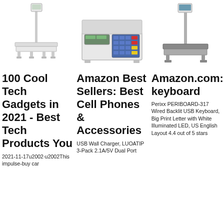[Figure (photo): Platform scale with tall pole and small flat platform, white/silver color]
[Figure (photo): Compact digital counting scale with keypad and dual display, light grey color]
[Figure (photo): Platform scale with tall pole and flat dark platform, silver/black color]
100 Cool Tech Gadgets in 2021 - Best Tech Products You
Amazon Best Sellers: Best Cell Phones & Accessories
Amazon.com: keyboard
2021-11-17u2002·u2002This impulse-buy car
USB Wall Charger, LUOATIP 3-Pack 2.1A/5V Dual Port
Perixx PERIBOARD-317 Wired Backlit USB Keyboard, Big Print Letter with White Illuminated LED, US English Layout 4.4 out of 5 stars